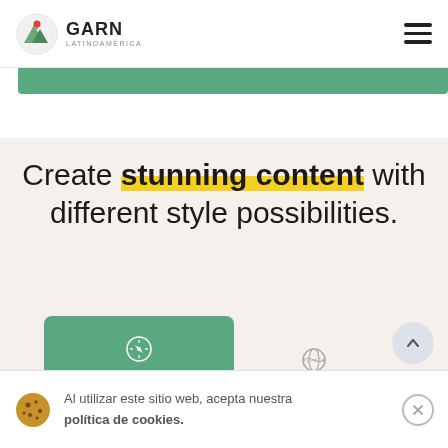GARN Latinoamérica — navigation header with hamburger menu
Create stunning content with different style possibilities.
[Figure (screenshot): Website Design tab (active, green) with compass icon; Engineering tab (inactive) with globe icon; arrow-up button]
Al utilizar este sitio web, acepta nuestra política de cookies.
Development